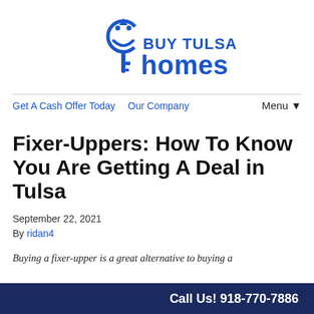[Figure (logo): Buy Tulsa Homes logo with blue smiley face key icon and text 'BUY TULSA homes' in blue]
Get A Cash Offer Today   Our Company   Menu ▼
Fixer-Uppers: How To Know You Are Getting A Deal in Tulsa
September 22, 2021
By ridan4
Buying a fixer-upper is a great alternative to buying a
Call Us! 918-770-7886